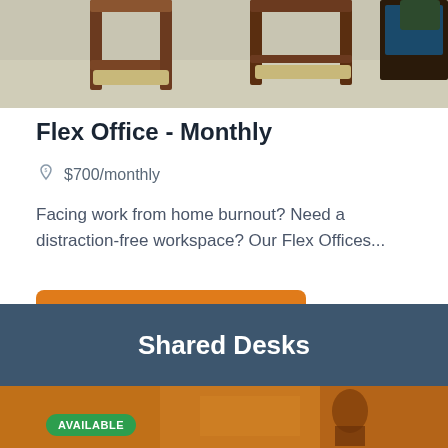[Figure (photo): Top portion of an office space photo showing furniture — wooden chairs and a carpet floor, partially cropped]
Flex Office - Monthly
$700/monthly
Facing work from home burnout? Need a distraction-free workspace? Our Flex Offices...
View Details
Shared Desks
[Figure (photo): Bottom strip of a photo showing a shared desk or coworking space with warm orange/brown tones, partially cropped with an AVAILABLE badge]